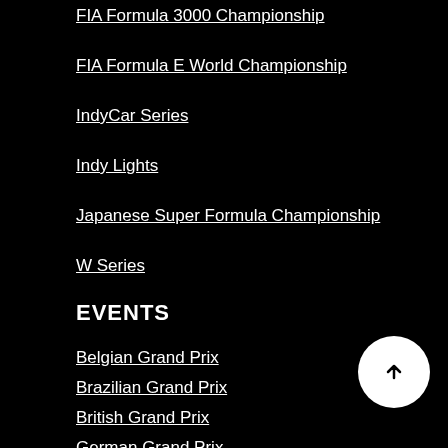FIA Formula 3000 Championship
FIA Formula E World Championship
IndyCar Series
Indy Lights
Japanese Super Formula Championship
W Series
EVENTS
Belgian Grand Prix
Brazilian Grand Prix
British Grand Prix
German Grand Prix
Indianapolis 500
Italian Grand Prix
Japanese Grand Prix